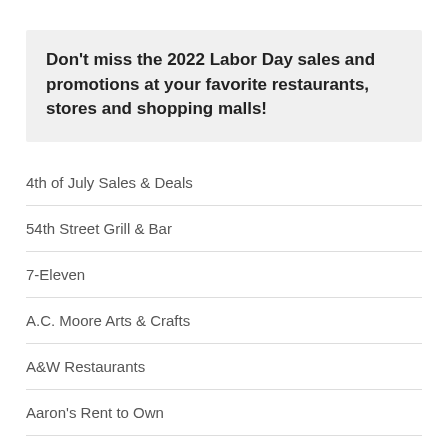Don't miss the 2022 Labor Day sales and promotions at your favorite restaurants, stores and shopping malls!
4th of July Sales & Deals
54th Street Grill & Bar
7-Eleven
A.C. Moore Arts & Crafts
A&W Restaurants
Aaron's Rent to Own
Academy Sports + Outdoors
Acapulco Restaurant
Ace Hardware